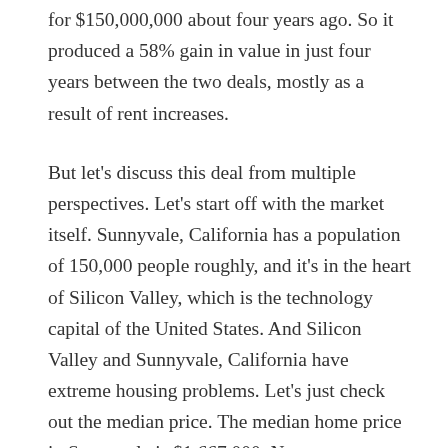for $150,000,000 about four years ago. So it produced a 58% gain in value in just four years between the two deals, mostly as a result of rent increases.
But let's discuss this deal from multiple perspectives. Let's start off with the market itself. Sunnyvale, California has a population of 150,000 people roughly, and it's in the heart of Silicon Valley, which is the technology capital of the United States. And Silicon Valley and Sunnyvale, California have extreme housing problems. Let's just check out the median price. The median home price in Sunnyvale is $1,667,000. Now compare that to the US norm, which is right around 200,000, and Sunnyvale is eight times more expensive. So you could buy, in most every